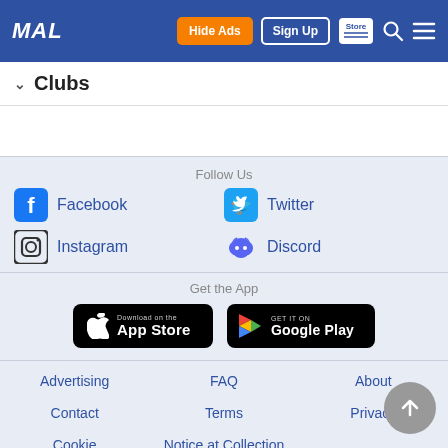MAL | Hide Ads | Sign Up | Store | Search | Menu
Clubs
Follow Us
Facebook
Twitter
Instagram
Discord
Get the App
[Figure (logo): Download on the App Store badge]
[Figure (logo): Get it on Google Play badge]
Advertising
FAQ
About
Contact
Terms
Privacy
Cookie
Notice at Collection